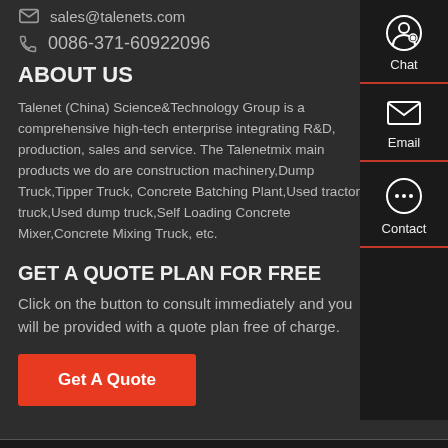sales@talenets.com
0086-371-60922096
ABOUT US
Talenet (China) Science&Technology Group is a comprehensive high-tech enterprise integrating R&D, production, sales and service. The Talenetmix main products we do are construction machinery,Dump Truck,Tipper Truck, Concrete Batching Plant,Used tractor truck,Used dump truck,Self Loading Concrete Mixer,Concrete Mixing Truck, etc.
GET A QUOTE PLAN FOR FREE
Click on the button to consult immediately and you will be provided with a quote plan free of charge.
Get A Quote